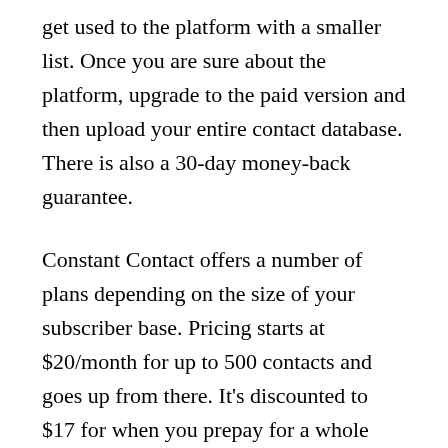get used to the platform with a smaller list. Once you are sure about the platform, upgrade to the paid version and then upload your entire contact database. There is also a 30-day money-back guarantee.
Constant Contact offers a number of plans depending on the size of your subscriber base. Pricing starts at $20/month for up to 500 contacts and goes up from there. It’s discounted to $17 for when you prepay for a whole year.